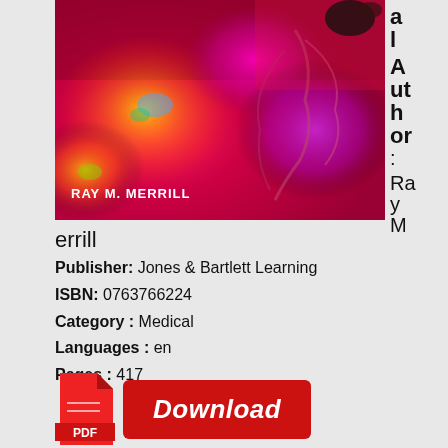[Figure (photo): Book cover with colorful abstract floral/nature background in pinks, reds, purples and yellows. Author name 'RAY M. MERRILL' printed in white text on the cover.]
Author: Ray M. Merrill
Publisher: Jones & Bartlett Learning
ISBN: 0763766224
Category: Medical
Languages: en
Pages: 417
[Figure (infographic): Download button with PDF icon on the left (red document icon with 'PDF' label) and a red rounded rectangle button with italic white text 'Download']